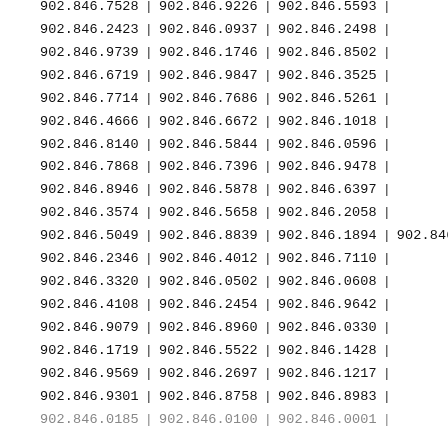| 902.846.7528 | | | 902.846.9226 | | | 902.846.5593 | | |
| 902.846.2423 | | | 902.846.0937 | | | 902.846.2498 | | |
| 902.846.9739 | | | 902.846.1746 | | | 902.846.8502 | | |
| 902.846.6719 | | | 902.846.9847 | | | 902.846.3525 | | |
| 902.846.7714 | | | 902.846.7686 | | | 902.846.5261 | | |
| 902.846.4666 | | | 902.846.6672 | | | 902.846.1018 | | |
| 902.846.8140 | | | 902.846.5844 | | | 902.846.0596 | | |
| 902.846.7868 | | | 902.846.7396 | | | 902.846.9478 | | |
| 902.846.8946 | | | 902.846.5878 | | | 902.846.6397 | | |
| 902.846.3574 | | | 902.846.5658 | | | 902.846.2058 | | |
| 902.846.5049 | | | 902.846.8839 | | | 902.846.1894 | | | 902.846.08 |
| 902.846.2346 | | | 902.846.4012 | | | 902.846.7110 | | |
| 902.846.3320 | | | 902.846.0502 | | | 902.846.0608 | | |
| 902.846.4108 | | | 902.846.2454 | | | 902.846.9642 | | |
| 902.846.9079 | | | 902.846.8960 | | | 902.846.0330 | | |
| 902.846.1719 | | | 902.846.5522 | | | 902.846.1428 | | |
| 902.846.9569 | | | 902.846.2697 | | | 902.846.1217 | | |
| 902.846.9301 | | | 902.846.8758 | | | 902.846.8983 | | |
| 902.846.0185 | | | 902.846.0100 | | | 902.846.0001 | | |